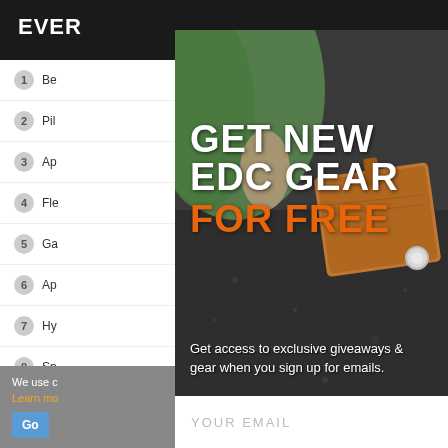EVER
1 Be
2 Pil
3 Ap
4 Fle
5 Ga
6 Ap
7 Hy
8 Sp
We use c
Learn mo
GET NEW EDC GEAR FOR FREE
Get access to exclusive giveaways & gear when you sign up for emails.
YOUR EMAIL
UNLOCK ACCESS
NO, THANK YOU.